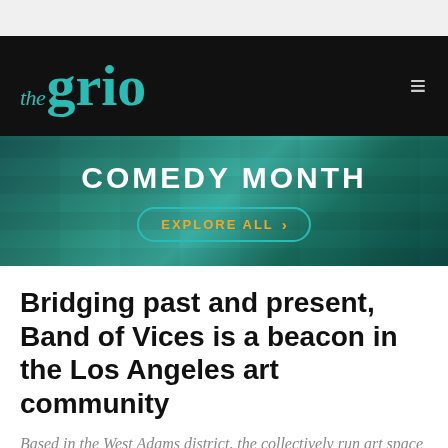the grio
[Figure (screenshot): Comedy Month banner with teal brick wall background, white bold text 'COMEDY MONTH', and a teal-bordered button with gold text 'EXPLORE ALL >']
Bridging past and present, Band of Vices is a beacon in the Los Angeles art community
Based in the West Adams district, the collectively run art space operates with the ethos 'come one, come all.'